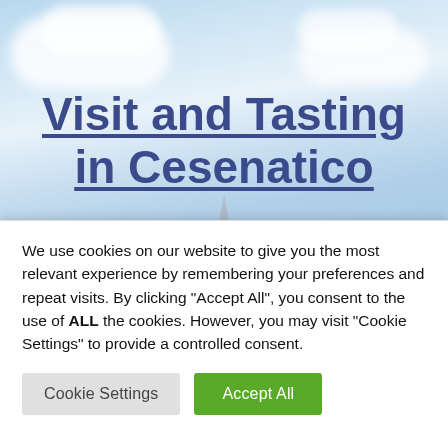[Figure (photo): Background sky with clouds and a church or tower spire visible in the lower portion]
Visit and Tasting in Cesenatico
80,00€
The modern seaside town is presented as one
We use cookies on our website to give you the most relevant experience by remembering your preferences and repeat visits. By clicking "Accept All", you consent to the use of ALL the cookies. However, you may visit "Cookie Settings" to provide a controlled consent.